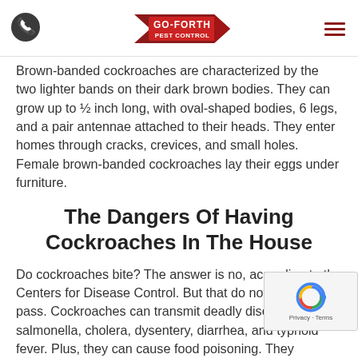Go-Forth Pest Control logo with phone icon and menu icon
Brown-banded cockroaches are characterized by the two lighter bands on their dark brown bodies. They can grow up to ½ inch long, with oval-shaped bodies, 6 legs, and a pair antennae attached to their heads. They enter homes through cracks, crevices, and small holes. Female brown-banded cockroaches lay their eggs under furniture.
The Dangers Of Having Cockroaches In The House
Do cockroaches bite? The answer is no, according to the Centers for Disease Control. But that does not give them a pass. Cockroaches can transmit deadly diseases like salmonella, cholera, dysentery, diarrhea, and typhoid fever. Plus, they can cause food poisoning. They contaminate food through